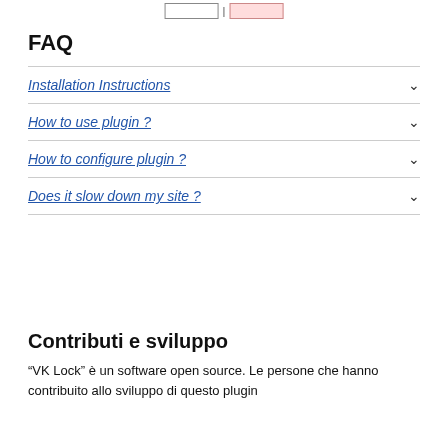[Figure (screenshot): Small UI screenshot showing two boxes at the top of the page]
FAQ
Installation Instructions
How to use plugin ?
How to configure plugin ?
Does it slow down my site ?
Contributi e sviluppo
“VK Lock” è un software open source. Le persone che hanno contribuito allo sviluppo di questo plugin